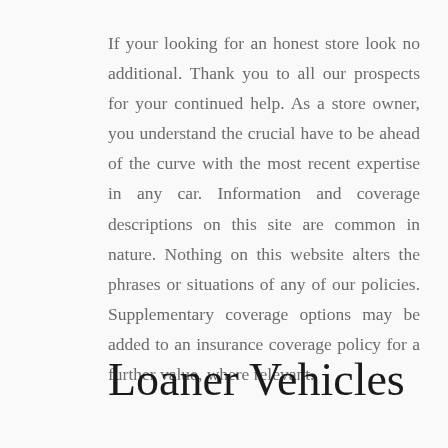If your looking for an honest store look no additional. Thank you to all our prospects for your continued help. As a store owner, you understand the crucial have to be ahead of the curve with the most recent expertise in any car. Information and coverage descriptions on this site are common in nature. Nothing on this website alters the phrases or situations of any of our policies. Supplementary coverage options may be added to an insurance coverage policy for a further value, where relevant.
Loaner Vehicles